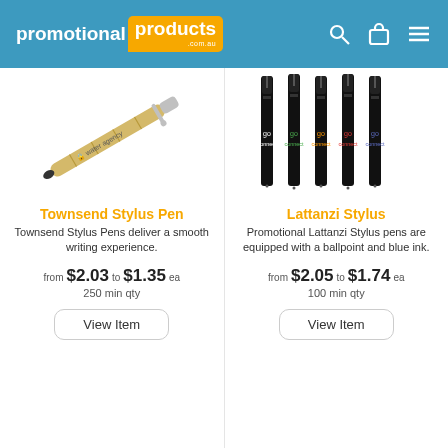promotional products .com.au
[Figure (photo): Bamboo stylus pen with silver clip and tip, shown at an angle with 'water agency' text on the barrel]
[Figure (photo): Five black Lattanzi Stylus pens standing upright showing different colored 'go connect' logo text: white, green, orange, red, blue]
Townsend Stylus Pen
Lattanzi Stylus
Townsend Stylus Pens deliver a smooth writing experience.
Promotional Lattanzi Stylus pens are equipped with a ballpoint and blue ink.
from $2.03 to $1.35 ea
250 min qty
from $2.05 to $1.74 ea
100 min qty
View Item
View Item